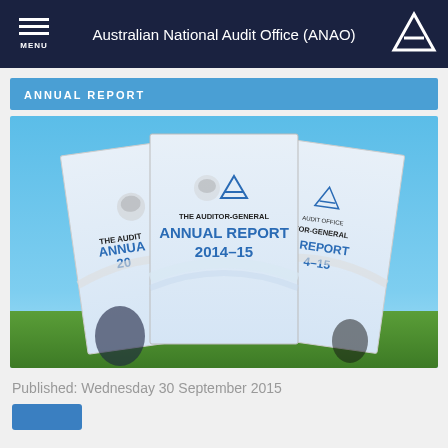Australian National Audit Office (ANAO)
ANNUAL REPORT
[Figure (photo): Three overlapping copies of 'THE AUDITOR-GENERAL ANNUAL REPORT 2014-15' booklet covers displayed against a blue sky and green grass background.]
Published: Wednesday 30 September 2015